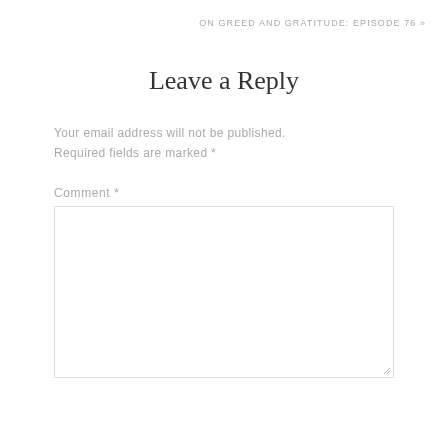ON GREED AND GRATITUDE: EPISODE 76 »
Leave a Reply
Your email address will not be published. Required fields are marked *
Comment *